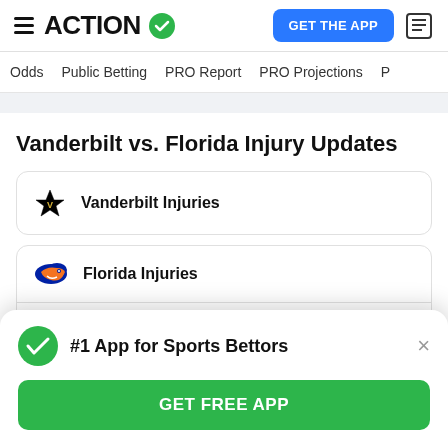ACTION (logo) | GET THE APP
Odds | Public Betting | PRO Report | PRO Projections
Vanderbilt vs. Florida Injury Updates
Vanderbilt Injuries
Florida Injuries
Vontrell Miller LB
#1 App for Sports Bettors
GET FREE APP